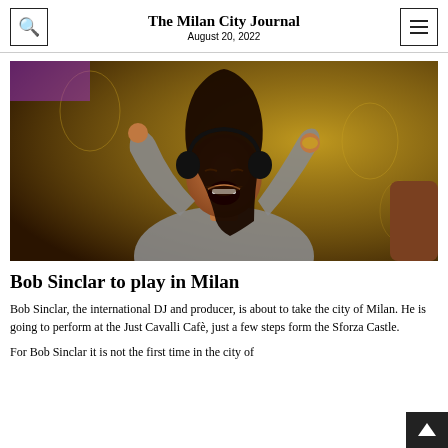The Milan City Journal
August 20, 2022
[Figure (photo): A man with long dark hair and headphones around his neck, arms raised, mouth open as if singing or shouting, wearing a grey t-shirt, photographed against an ornate golden wallpaper background.]
Bob Sinclar to play in Milan
Bob Sinclar, the international DJ and producer, is about to take the city of Milan. He is going to perform at the Just Cavalli Cafè, just a few steps form the Sforza Castle.
For Bob Sinclar it is not the first time in the city of